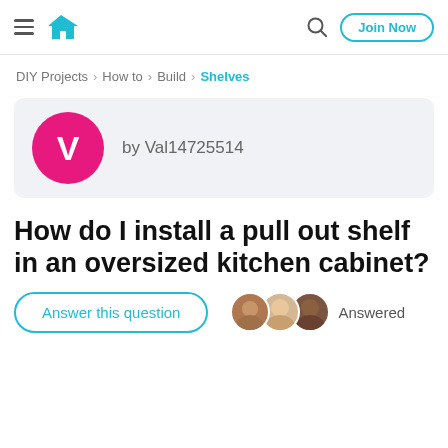DIY home improvement website header with hamburger menu, house logo, search icon, and Join Now button
DIY Projects › How to › Build › Shelves
by Val14725514
How do I install a pull out shelf in an oversized kitchen cabinet?
Answer this question   Answered